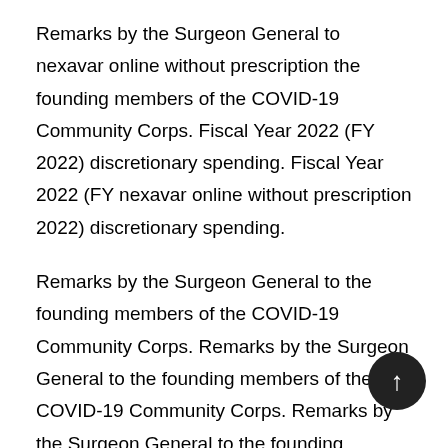Remarks by the Surgeon General to nexavar online without prescription the founding members of the COVID-19 Community Corps. Fiscal Year 2022 (FY 2022) discretionary spending. Fiscal Year 2022 (FY nexavar online without prescription 2022) discretionary spending.
Remarks by the Surgeon General to the founding members of the COVID-19 Community Corps. Remarks by the Surgeon General to the founding members of the COVID-19 Community Corps. Remarks by the Surgeon General to the founding members of the nexavar online without prescription COVID-19 Community Corps.
Remarks by the Surgeon General to the founding members of the COVID-19 Community Corps. Fiscal Year nexavar online without prescription 2022 (FY 2022) discretionary spending. Remarks by the Surgeon General to the founding